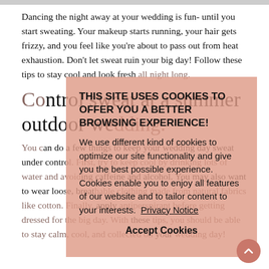Dancing the night away at your wedding is fun- until you start sweating. Your makeup starts running, your hair gets frizzy, and you feel like you're about to pass out from heat exhaustion. Don't let sweat ruin your big day! Follow these tips to stay cool and look fresh all night long.
Control sweat at a summer outdoor wedding.
You can do a few things to keep your wedding day sweat under control. First, try to keep cool by drinking lots of water and avoiding caffeine and alcohol. You may also want to wear loose, breathable clothing made from natural fabrics like cotton. Finally, apply antiperspirant before getting dressed for the big day. With these tips, you should be able to stay calm, cool, and collected on your wedding day!
THIS SITE USES COOKIES TO OFFER YOU A BETTER BROWSING EXPERIENCE! We use different kind of cookies to optimize our site functionality and give you the best possible experience. Cookies enable you to enjoy all features of our website and to tailor content to your interests. Privacy Notice
Accept Cookies